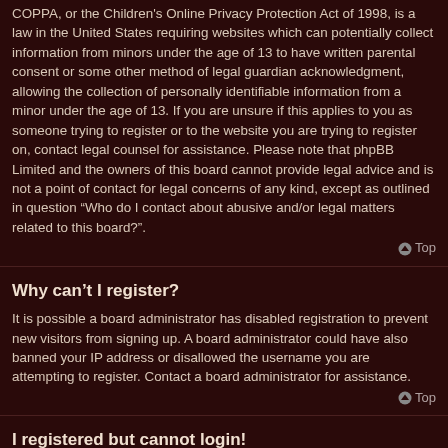COPPA, or the Children's Online Privacy Protection Act of 1998, is a law in the United States requiring websites which can potentially collect information from minors under the age of 13 to have written parental consent or some other method of legal guardian acknowledgment, allowing the collection of personally identifiable information from a minor under the age of 13. If you are unsure if this applies to you as someone trying to register or to the website you are trying to register on, contact legal counsel for assistance. Please note that phpBB Limited and the owners of this board cannot provide legal advice and is not a point of contact for legal concerns of any kind, except as outlined in question “Who do I contact about abusive and/or legal matters related to this board?”.
⬆ Top
Why can’t I register?
It is possible a board administrator has disabled registration to prevent new visitors from signing up. A board administrator could have also banned your IP address or disallowed the username you are attempting to register. Contact a board administrator for assistance.
⬆ Top
I registered but cannot login!
First, check your username and password. If they are correct, then one of two things may have happened. If COPPA support is enabled and you specified being under 13 years old during registration, you will have to follow the instructions you received. Some boards will also require new